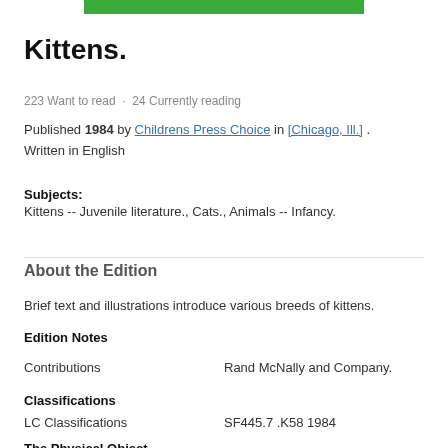[Figure (other): Green bar at top of page]
Kittens.
223 Want to read · 24 Currently reading
Published 1984 by Childrens Press Choice in [Chicago, Ill.] . Written in English
Subjects: Kittens -- Juvenile literature., Cats., Animals -- Infancy.
About the Edition
Brief text and illustrations introduce various breeds of kittens.
Edition Notes
Contributions    Rand McNally and Company.
Classifications
LC Classifications    SF445.7 .K58 1984
The Physical Object
Pagination    p. cm.